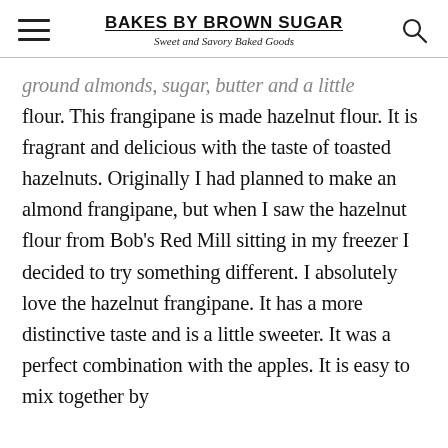BAKES BY BROWN SUGAR | Sweet and Savory Baked Goods
ground almonds, sugar, butter and a little flour. This frangipane is made hazelnut flour. It is fragrant and delicious with the taste of toasted hazelnuts. Originally I had planned to make an almond frangipane, but when I saw the hazelnut flour from Bob's Red Mill sitting in my freezer I decided to try something different. I absolutely love the hazelnut frangipane. It has a more distinctive taste and is a little sweeter. It was a perfect combination with the apples. It is easy to mix together by